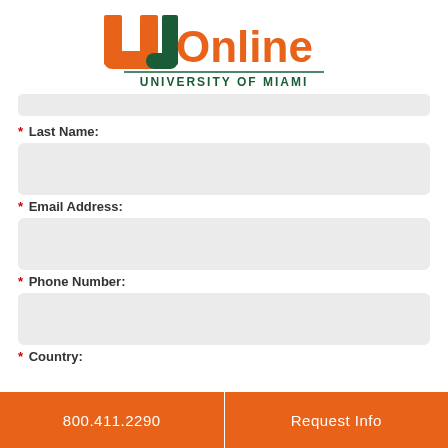[Figure (logo): University of Miami Online logo with orange U and green J letters, 'Online' in orange text, horizontal green divider line, 'UNIVERSITY OF MIAMI' in green text below]
* Last Name:
* Email Address:
* Phone Number:
* Country:
800.411.2290   Request Info